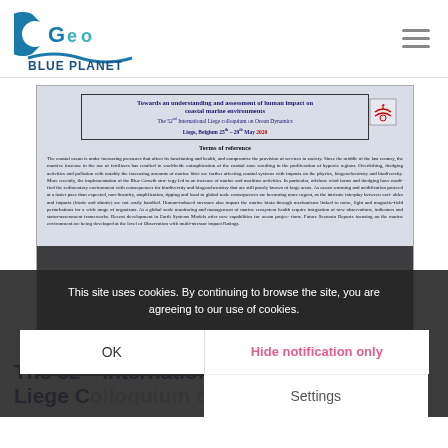GEO BLUE PLANET
[Figure (screenshot): Screenshot of a conference page for 'Towards an understanding and assessment of human impact on coastal marine environments – The 52nd International Liege colloquium on Ocean Dynamics, Liege, Belgium 25th – 29th May 2020'. Shows Terms of reference text about coastal ocean pressures.]
This site uses cookies. By continuing to browse the site, you are agreeing to our use of cookies.
OK
Hide notification only
Settings
The 52nd International Liege Colloquium on